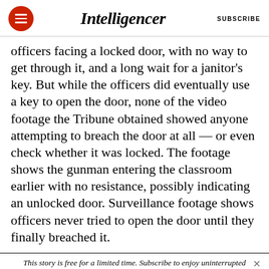Intelligencer | SUBSCRIBE
officers facing a locked door, with no way to get through it, and a long wait for a janitor's key. But while the officers did eventually use a key to open the door, none of the video footage the Tribune obtained showed anyone attempting to breach the door at all — or even check whether it was locked. The footage shows the gunman entering the classroom earlier with no resistance, possibly indicating an unlocked door. Surveillance footage shows officers never tried to open the door until they finally breached it.
This story is free for a limited time. Subscribe to enjoy uninterrupted access. START YOUR TRIAL TODAY. »»